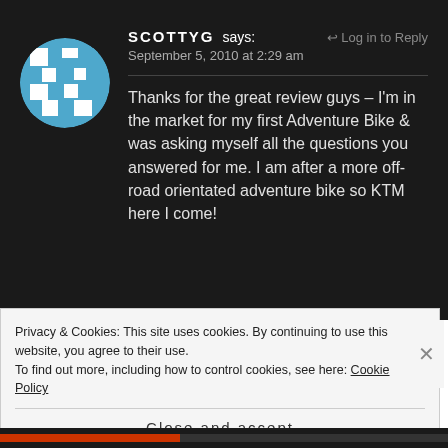[Figure (illustration): Blue and white pixel/mosaic style avatar in a circle]
SCOTTYG says:
Log in to Reply
September 5, 2010 at 2:29 am
Thanks for the great review guys – I'm in the market for my first Adventure Bike & was asking myself all the questions you answered for me. I am after a more off-road orientated adventure bike so KTM here I come!
Privacy & Cookies: This site uses cookies. By continuing to use this website, you agree to their use. To find out more, including how to control cookies, see here: Cookie Policy
Close and accept